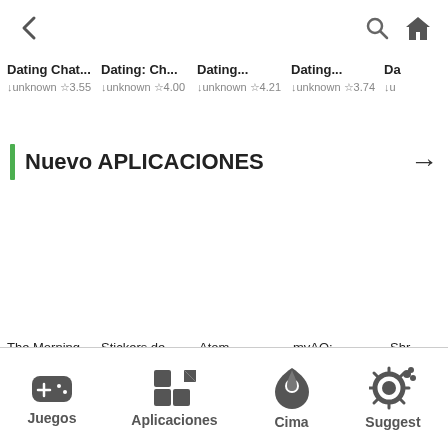[Figure (screenshot): Top navigation bar with back arrow, search icon, and home icon]
Dating Chat... ↓unknown ☆3.55   Dating: Ch... ↓unknown ☆4.00   Dating... ↓unknown ☆4.21   Dating... ↓unknown ☆3.74   Da...
Nuevo APLICACIONES →
The Morning Meetup ↓178M   Stickers de Mikecrack ... ↓unknown   Atom ↓28.24 MB ☆3.79   myAO: Surgical... ↓unknown ☆4.63   Shr Nat ↓15.9 MB
[Figure (infographic): Bottom navigation bar with icons for Juegos, Aplicaciones, Cima, and Suggest]